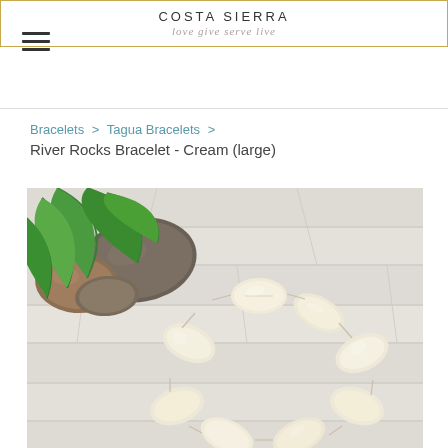COSTA SIERRA love give serve live
Bracelets > Tagua Bracelets > River Rocks Bracelet - Cream (large)
[Figure (photo): Product photo of a cream-colored tagua bead bracelet (River Rocks Bracelet - Cream large) displayed on a white wood plank surface with river rocks and green tropical leaves in the background.]